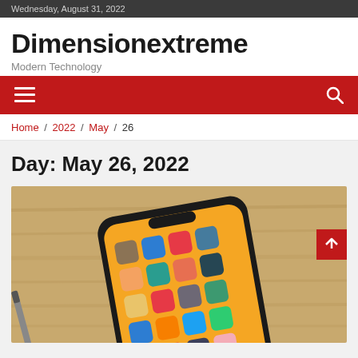Wednesday, August 31, 2022
Dimensionextreme
Modern Technology
[Figure (other): Red navigation bar with hamburger menu icon on left and search icon on right]
Home / 2022 / May / 26
Day: May 26, 2022
[Figure (photo): Photo of a smartphone (iPhone) lying on a wooden surface showing app icons on screen, with a pen or stylus nearby]